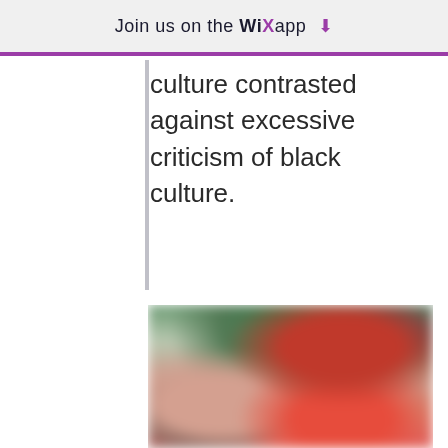Join us on the WiX app ↓
culture contrasted against excessive criticism of black culture.
[Figure (photo): Blurred outdoor photo of two people, one wearing a red shirt and a red cap with sunglasses, another in foreground with dark sunglasses, green foliage background]